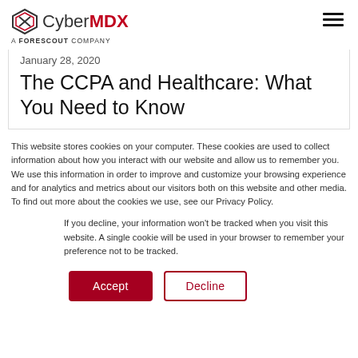CyberMDX — A FORESCOUT COMPANY
January 28, 2020
The CCPA and Healthcare: What You Need to Know
This website stores cookies on your computer. These cookies are used to collect information about how you interact with our website and allow us to remember you. We use this information in order to improve and customize your browsing experience and for analytics and metrics about our visitors both on this website and other media. To find out more about the cookies we use, see our Privacy Policy.
If you decline, your information won't be tracked when you visit this website. A single cookie will be used in your browser to remember your preference not to be tracked.
Accept   Decline